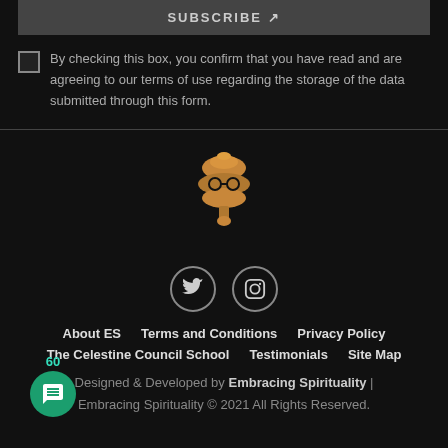SUBSCRIBE ↗
By checking this box, you confirm that you have read and are agreeing to our terms of use regarding the storage of the data submitted through this form.
[Figure (logo): Embracing Spirituality golden logo icon]
[Figure (other): Twitter and Instagram social media icons in circular borders]
About ES   Terms and Conditions   Privacy Policy   The Celestine Council School   Testimonials   Site Map
Designed & Developed by Embracing Spirituality | Embracing Spirituality © 2021 All Rights Reserved.